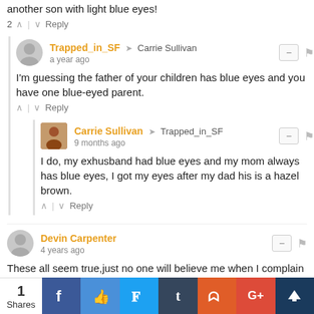another son with light blue eyes!
2 ^ | v Reply
Trapped_in_SF → Carrie Sullivan
a year ago
I'm guessing the father of your children has blue eyes and you have one blue-eyed parent.
^ | v Reply
Carrie Sullivan → Trapped_in_SF
9 months ago
I do, my exhusband had blue eyes and my mom always has blue eyes, I got my eyes after my dad his is a hazel brown.
^ | v Reply
Devin Carpenter
4 years ago
These all seem true,just no one will believe me when I complain of headaches and blaim sensitive eyes.
[Figure (infographic): Social sharing bar with 1 Share count, and buttons for Facebook, Facebook Like, Twitter, Tumblr, Reddit, Google+, and another service]